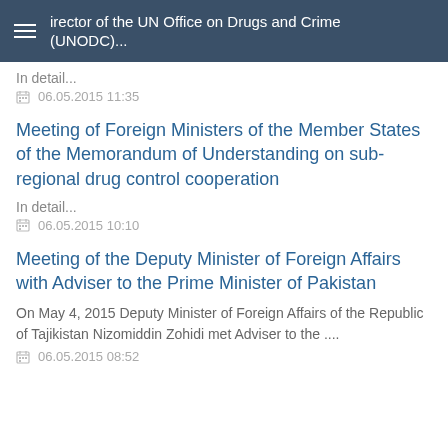Director of the UN Office on Drugs and Crime (UNODC)...
In detail...
06.05.2015 11:35
Meeting of Foreign Ministers of the Member States of the Memorandum of Understanding on sub-regional drug control cooperation
In detail...
06.05.2015 10:10
Meeting of the Deputy Minister of Foreign Affairs with Adviser to the Prime Minister of Pakistan
On May 4, 2015 Deputy Minister of Foreign Affairs of the Republic of Tajikistan Nizomiddin Zohidi met Adviser to the ....
06.05.2015 08:52